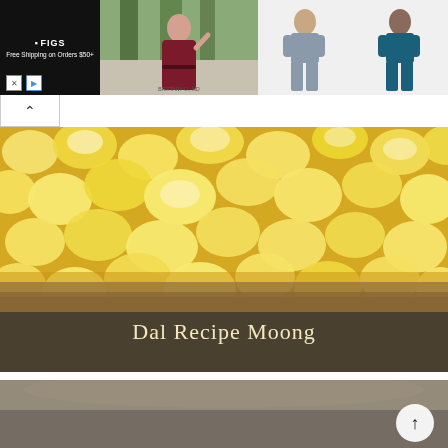[Figure (screenshot): Advertisement banner showing FIGS medical scrubs. Left portion is black background with FIGS logo and 'Free Shipping on Orders $50+'. Middle shows a woman in dark red scrubs. Right shows two women models in gray and teal scrubs. Close (X) and play button controls at bottom left.]
[Figure (photo): Large close-up photo of yellow/golden moong dal (split yellow lentils) piled in a bowl. The image fills the upper portion with a darker lower portion where text overlay reads 'Dal Recipe Moong' in light golden serif font.]
Dal Recipe Moong
[Figure (photo): Partial view of a second photo below, showing a blurred gray/brown bowl scene. A circular scroll-to-top button with an upward arrow is visible in the lower right.]